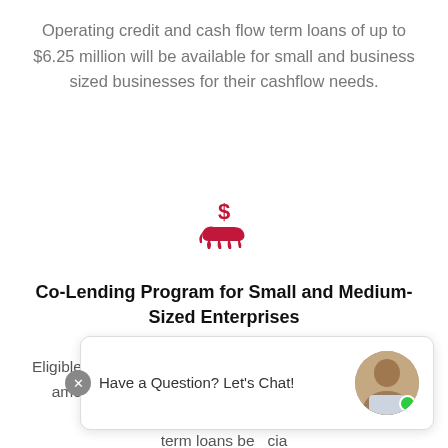Operating credit and cash flow term loans of up to $6.25 million will be available for small and business sized businesses for their cashflow needs.
[Figure (illustration): Red icon of a hand receiving a dollar sign, representing cash lending or financial services.]
Co-Lending Program for Small and Medium-Sized Enterprises
Eligible SMEs businesses may obtain incremental credit amounts of up to $6.25 million for their operational cashflow needs through the co-lend term loans be... cia...
Have a Question? Let's Chat!